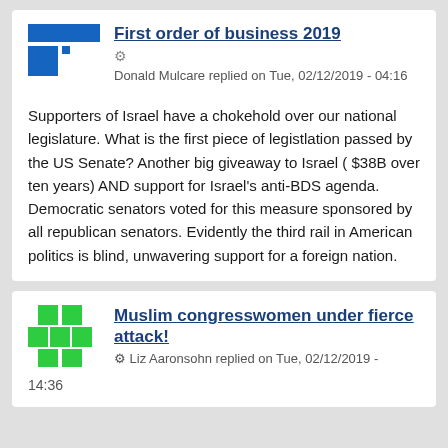First order of business 2019
Donald Mulcare replied on Tue, 02/12/2019 - 04:16
Supporters of Israel have a chokehold over our national legislature. What is the first piece of legistlation passed by the US Senate? Another big giveaway to Israel ( $38B over ten years) AND support for Israel’s anti-BDS agenda. Democratic senators voted for this measure sponsored by all republican senators. Evidently the third rail in American politics is blind, unwavering support for a foreign nation.
Muslim congresswomen under fierce attack!
Liz Aaronsohn replied on Tue, 02/12/2019 - 14:36